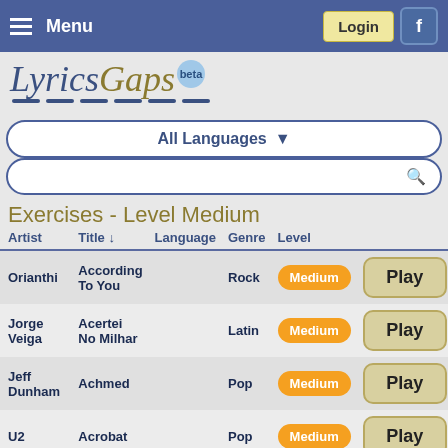Menu  Login  f
[Figure (logo): LyricsGaps beta logo with dashes]
All Languages ▼
Search box with magnifying glass icon
Exercises - Level Medium
| Artist | Title ↓ | Language | Genre | Level |  |
| --- | --- | --- | --- | --- | --- |
| Orianthi | According To You |  | Rock | Medium | Play |
| Jorge Veiga | Acertei No Milhar |  | Latin | Medium | Play |
| Jeff Dunham | Achmed |  | Pop | Medium | Play |
| U2 | Acrobat |  | Pop | Medium | Play |
| Hayley Westenra | Across The Universe Of Time |  | Pop | Medium | Play |